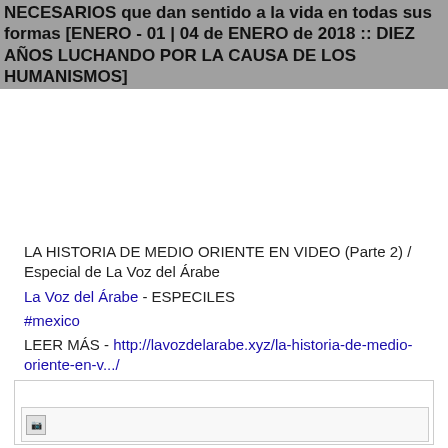NECESARIOS que dan sentido a la vida en todas sus formas [ENERO - 01 | 04 de ENERO de 2018 :: DIEZ AÑOS LUCHANDO POR LA CAUSA DE LOS HUMANISMOS]
LA HISTORIA DE MEDIO ORIENTE EN VIDEO (Parte 2) / Especial de La Voz del Árabe
La Voz del Árabe - ESPECILES
#mexico
LEER MÁS - http://lavozdelarabe.xyz/la-historia-de-medio-oriente-en-v.../
[Figure (other): A card/embed box with a broken image placeholder in the lower portion of the page]